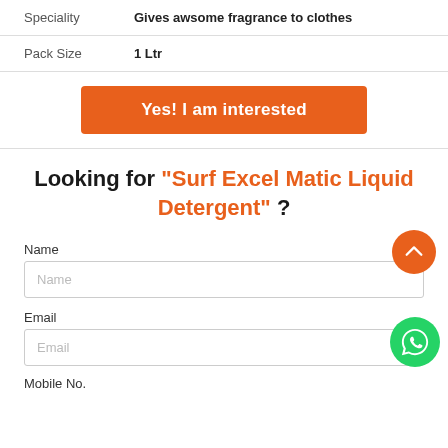| Speciality | Gives awsome fragrance to clothes |
| Pack Size | 1 Ltr |
Yes! I am interested
Looking for "Surf Excel Matic Liquid Detergent" ?
Name
Email
Mobile No.